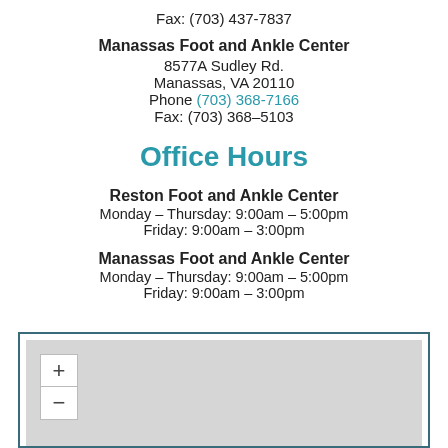Fax: (703) 437-7837
Manassas Foot and Ankle Center
8577A Sudley Rd.
Manassas, VA 20110
Phone (703) 368-7166
Fax: (703) 368-5103
Office Hours
Reston Foot and Ankle Center
Monday – Thursday: 9:00am – 5:00pm
Friday: 9:00am – 3:00pm
Manassas Foot and Ankle Center
Monday – Thursday: 9:00am – 5:00pm
Friday: 9:00am – 3:00pm
[Figure (map): Embedded interactive map with zoom in (+) and zoom out (-) controls, gray map background]